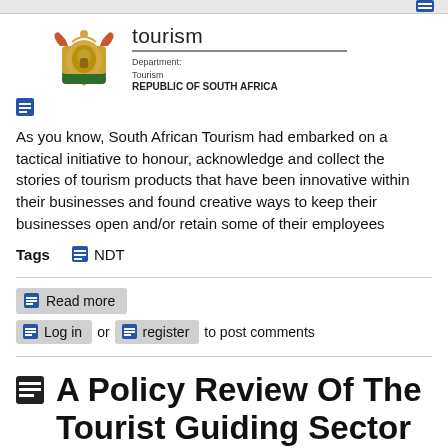[Figure (logo): South Africa Department of Tourism logo with coat of arms and text: tourism, Department: Tourism, REPUBLIC OF SOUTH AFRICA]
As you know, South African Tourism had embarked on a tactical initiative to honour, acknowledge and collect the stories of tourism products that have been innovative within their businesses and found creative ways to keep their businesses open and/or retain some of their employees
Tags  NDT
Read more
Log in  or  register  to post comments
A Policy Review Of The Tourist Guiding Sector In South